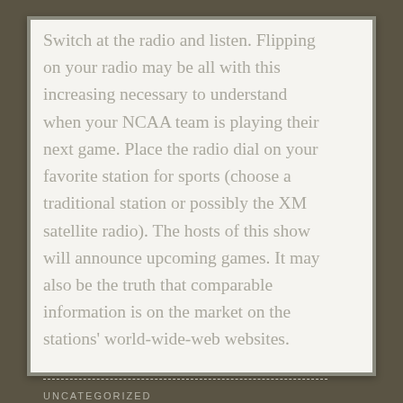Switch at the radio and listen. Flipping on your radio may be all with this increasing necessary to understand when your NCAA team is playing their next game. Place the radio dial on your favorite station for sports (choose a traditional station or possibly the XM satellite radio). The hosts of this show will announce upcoming games. It may also be the truth that comparable information is on the market on the stations' world-wide-web websites.
UNCATEGORIZED